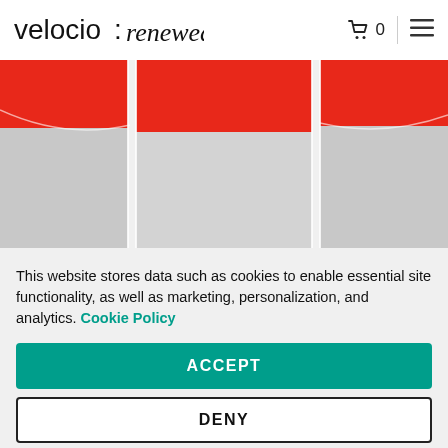velocio:renewed  🛒 0  ☰
[Figure (photo): Close-up of a cycling jersey showing red upper panels and light gray lower panels with white piping seams, product from Velocio:renewed]
This website stores data such as cookies to enable essential site functionality, as well as marketing, personalization, and analytics. Cookie Policy
ACCEPT
DENY